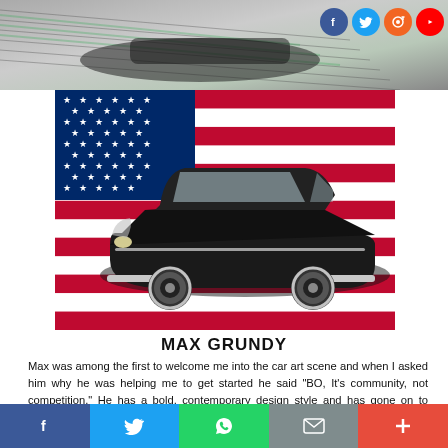[Figure (illustration): Top banner with abstract car illustration in grayscale with streaking motion lines and social media icons (Facebook, Twitter, RSS, YouTube) in top right corner]
[Figure (illustration): American flag with red and white stripes and blue canton with white stars, overlaid with a classic black custom low-rider car illustration (1950s style Mercury chopped top)]
MAX GRUNDY
Max was among the first to welcome me into the car art scene and when I asked him why he was helping me to get started he said "BO, It's community, not competition." He has a bold, contemporary design style and has gone on to create popular poster work for Disney, custom build his own cars and trucks and rebranded the entire SEMA show. You can check out Max's work on his website maxgrundy.com
Social share bar: Facebook, Twitter, WhatsApp, Email, More